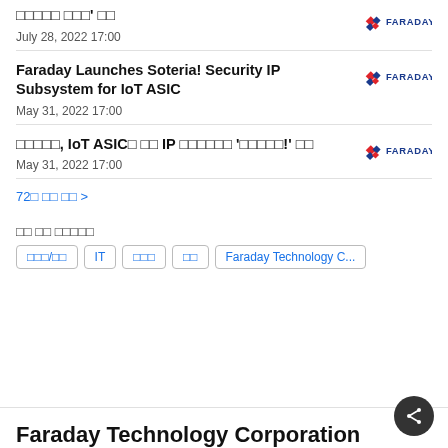□□□□□ □□□' □□
July 28, 2022 17:00
Faraday Launches Soteria! Security IP Subsystem for IoT ASIC
May 31, 2022 17:00
□□□□□, IoT ASIC□ □□ IP □□□□□□ '□□□□□!' □□
May 31, 2022 17:00
72□ □□ □□ >
□□ □□ □□□□□
□□□/□□   IT   □□□   □□   Faraday Technology C...
Faraday Technology Corporation